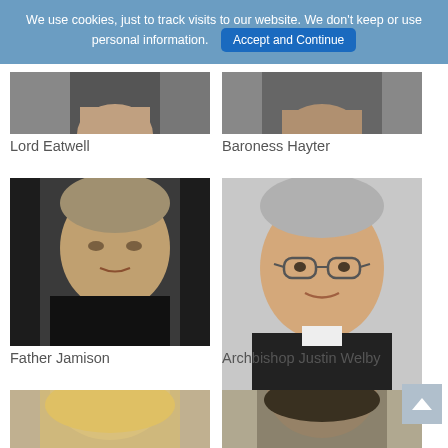We use cookies, just to track visits to our website. We don't keep or use personal information.  Accept and Continue
[Figure (photo): Partial photo of Lord Eatwell (top cropped)]
Lord Eatwell
[Figure (photo): Partial photo of Baroness Hayter (top cropped)]
Baroness Hayter
[Figure (photo): Photo of Father Jamison]
Father Jamison
[Figure (photo): Photo of Archbishop Justin Welby wearing glasses]
Archbishop Justin Welby
[Figure (photo): Partial photo of a blonde woman (bottom of page, cropped)]
[Figure (photo): Partial photo of a dark-haired woman (bottom of page, cropped)]